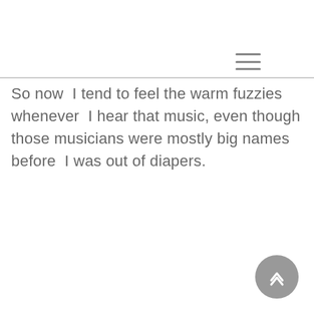≡
So now I tend to feel the warm fuzzies whenever I hear that music, even though those musicians were mostly big names before I was out of diapers.